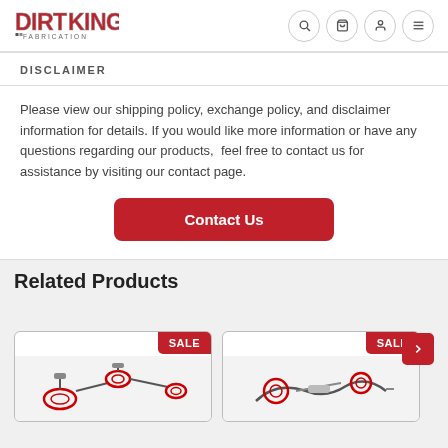Dirt King Fabrication - header with logo and nav icons
DISCLAIMER
Please view our shipping policy, exchange policy, and disclaimer information for details. If you would like more information or have any questions regarding our products,  feel free to contact us for assistance by visiting our contact page.
Contact Us
Related Products
[Figure (screenshot): Product card 1 with SALE badge and automotive parts image]
[Figure (screenshot): Product card 2 with SALE badge and automotive parts image]